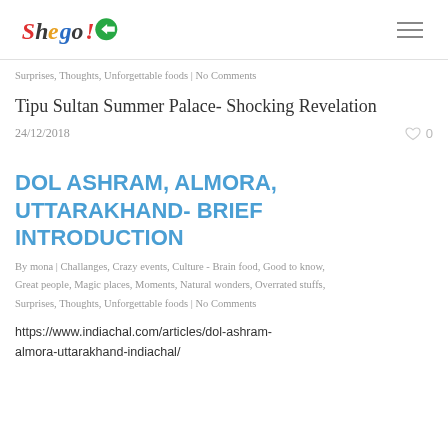SheGo! logo and hamburger menu
Surprises, Thoughts, Unforgettable foods | No Comments
Tipu Sultan Summer Palace- Shocking Revelation
24/12/2018   ♡ 0
DOL ASHRAM, ALMORA, UTTARAKHAND- BRIEF INTRODUCTION
By mona | Challanges, Crazy events, Culture - Brain food, Good to know, Great people, Magic places, Moments, Natural wonders, Overrated stuffs, Surprises, Thoughts, Unforgettable foods | No Comments
https://www.indiachal.com/articles/dol-ashram-almora-uttarakhand-indiachal/